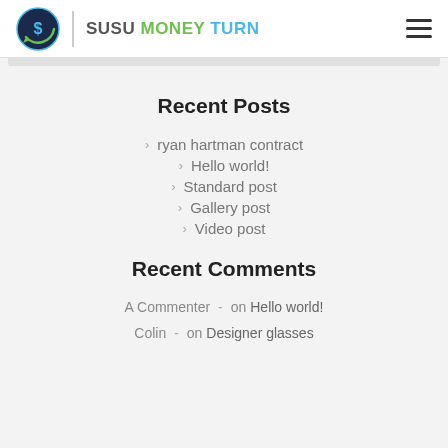SUSU MONEY TURN
Recent Posts
ryan hartman contract
Hello world!
Standard post
Gallery post
Video post
Recent Comments
A Commenter  -  on Hello world!
Colin  -  on Designer glasses